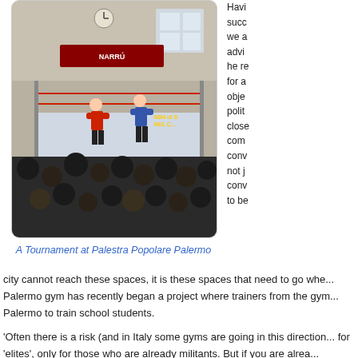[Figure (photo): Boxing match at Palestra Popolare Palermo — two boxers in a ring with audience watching, indoor gymnasium setting]
A Tournament at Palestra Popolare Palermo
city cannot reach these spaces, it is these spaces that need to go whe... Palermo gym has recently began a project where trainers from the gym... Palermo to train school students.
'Often there is a risk (and in Italy some gyms are going in this direction... for 'elites', only for those who are already militants. But if you are alrea... already pointed in the right direction, it seems a bit useless. If you are a... issue of training and formation, which can have its place but is a bit un...